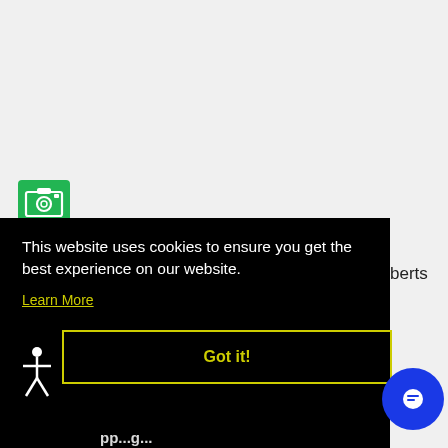[Figure (screenshot): Gray background top area of a website]
[Figure (illustration): Green camera icon with white camera symbol]
This website uses cookies to ensure you get the best experience on our website.
Learn More
Got it!
[Figure (illustration): White stick figure accessibility icon]
[Figure (illustration): Blue circular chat bubble button]